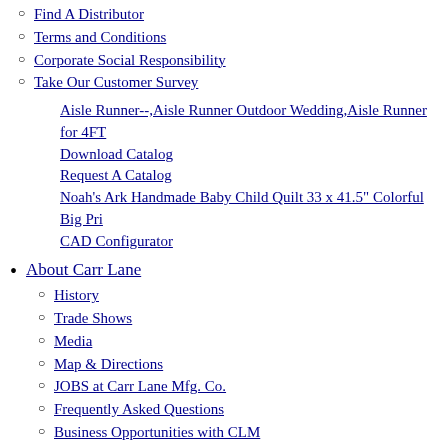Find A Distributor
Terms and Conditions
Corporate Social Responsibility
Take Our Customer Survey
Aisle Runner--,Aisle Runner Outdoor Wedding,Aisle Runner for 4FT
Download Catalog
Request A Catalog
Noah's Ark Handmade Baby Child Quilt 33 x 41.5" Colorful Big Pri
CAD Configurator
About Carr Lane
History
Trade Shows
Media
Map & Directions
JOBS at Carr Lane Mfg. Co.
Frequently Asked Questions
Business Opportunities with CLM
Product Innovations
Estate Find 1869 -Shield Two Cents!!! #K10000
Download Catalog
Request A Catalog